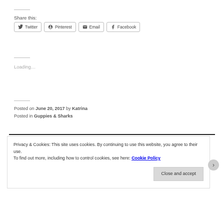Share this:
Twitter  Pinterest  Email  Facebook
Loading...
Posted on June 20, 2017 by Katrina
Posted in Guppies & Sharks
Privacy & Cookies: This site uses cookies. By continuing to use this website, you agree to their use.
To find out more, including how to control cookies, see here: Cookie Policy
Close and accept